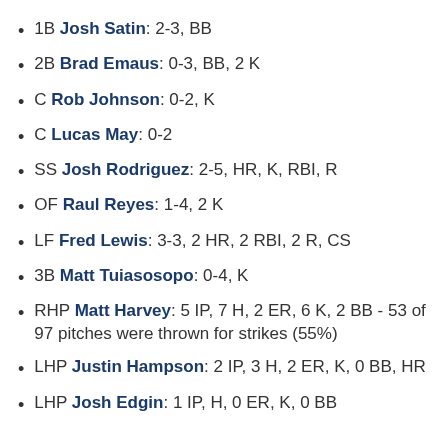1B Josh Satin: 2-3, BB
2B Brad Emaus: 0-3, BB, 2 K
C Rob Johnson: 0-2, K
C Lucas May: 0-2
SS Josh Rodriguez: 2-5, HR, K, RBI, R
OF Raul Reyes: 1-4, 2 K
LF Fred Lewis: 3-3, 2 HR, 2 RBI, 2 R, CS
3B Matt Tuiasosopo: 0-4, K
RHP Matt Harvey: 5 IP, 7 H, 2 ER, 6 K, 2 BB - 53 of 97 pitches were thrown for strikes (55%)
LHP Justin Hampson: 2 IP, 3 H, 2 ER, K, 0 BB, HR
LHP Josh Edgin: 1 IP, H, 0 ER, K, 0 BB